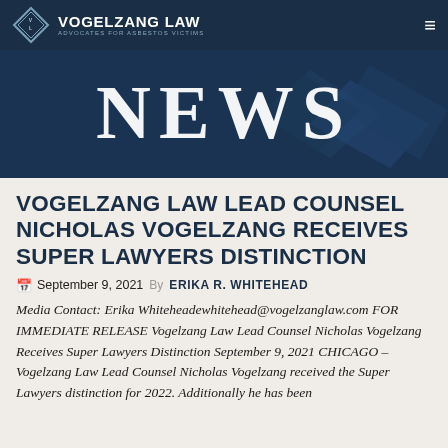[Figure (logo): Vogelzang Law logo with diamond shape and text 'VOGELZANG LAW — ADVOCATES FOR ASBESTOS VICTIMS' on dark navy navigation bar]
[Figure (illustration): Dark navy hero banner with large stylized 'NEWS' text in white serif letters with diamond geometric background shapes]
VOGELZANG LAW LEAD COUNSEL NICHOLAS VOGELZANG RECEIVES SUPER LAWYERS DISTINCTION
September 9, 2021 By ERIKA R. WHITEHEAD
Media Contact: Erika Whiteheadewhitehead@vogelzanglaw.com FOR IMMEDIATE RELEASE Vogelzang Law Lead Counsel Nicholas Vogelzang Receives Super Lawyers Distinction September 9, 2021 CHICAGO – Vogelzang Law Lead Counsel Nicholas Vogelzang received the Super Lawyers distinction for 2022. Additionally, he has been...